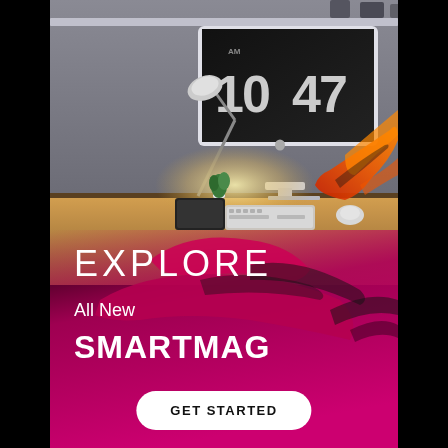[Figure (photo): Advertisement banner showing a modern desk setup with an iMac displaying clock 10:47, a desk lamp, plant, keyboard, and accessories. Orange and red ink splash overlays the lower portion. Text overlay reads EXPLORE, All New, SMARTMAG, and a GET STARTED button. Black side bars frame the image.]
EXPLORE
All New
SMARTMAG
GET STARTED